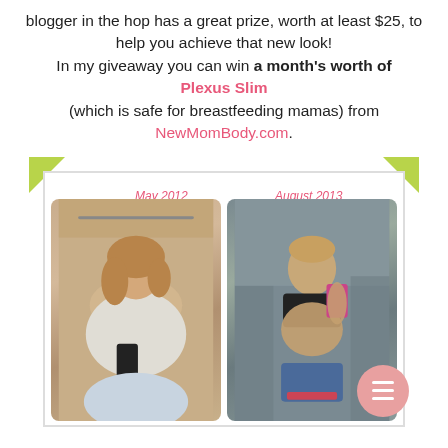blogger in the hop has a great prize, worth at least $25, to help you achieve that new look! In my giveaway you can win a month's worth of Plexus Slim (which is safe for breastfeeding mamas) from NewMomBody.com.
[Figure (photo): Before and after weight loss photos labeled May 2012 and August 2013. Left photo shows a woman in a white shirt taking a mirror selfie. Right photo shows a fit woman in a sports bra and shorts taking a gym mirror selfie. Green triangles in top corners of the frame.]